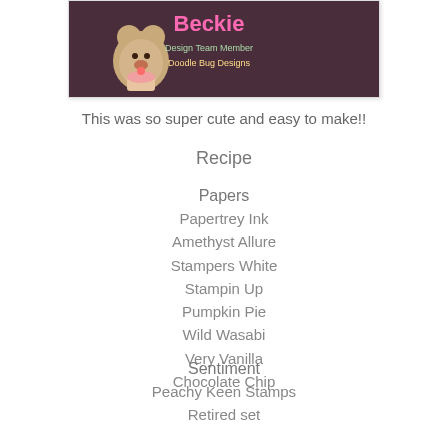[Figure (photo): Photo of a crafting/design team member badge for Beckie, with a cartoon bear and doodle bug designs branding, on a dark purple/brown background]
This was so super cute and easy to make!!
Recipe
Papers
Papertrey Ink
Amethyst Allure
Stampers White
Stampin Up
Pumpkin Pie
Wild Wasabi
Very Vanilla
Chocolate Chip
Sentiment
Peachy Keen Stamps
Retired set